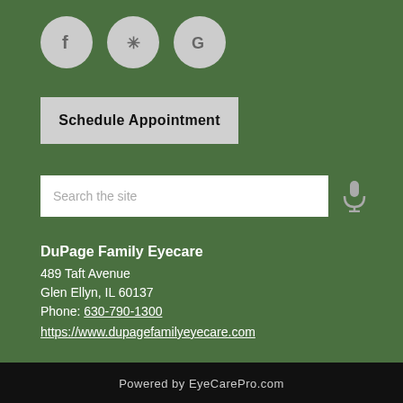[Figure (infographic): Three social media icon buttons: Facebook (f), Yelp (asterisk/flower), Google (G) — circular gray buttons on green background]
[Figure (infographic): Schedule Appointment button — gray rectangle with bold black text]
[Figure (infographic): Search bar with 'Search the site' placeholder text and microphone icon on green background]
DuPage Family Eyecare
489 Taft Avenue
Glen Ellyn, IL 60137
Phone: 630-790-1300
https://www.dupagefamilyeyecare.com
Powered by EyeCarePro.com